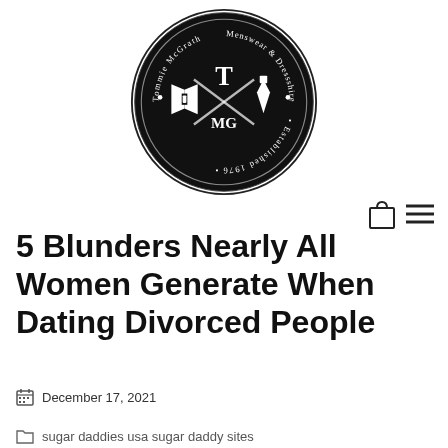[Figure (logo): Tommie McGrath Menswear & Dressshire circular logo, established 1976, with crossed bow tie and necktie, letters T and MG in center, black circular badge design]
5 Blunders Nearly All Women Generate When Dating Divorced People
December 17, 2021
sugar daddies usa sugar daddy sites